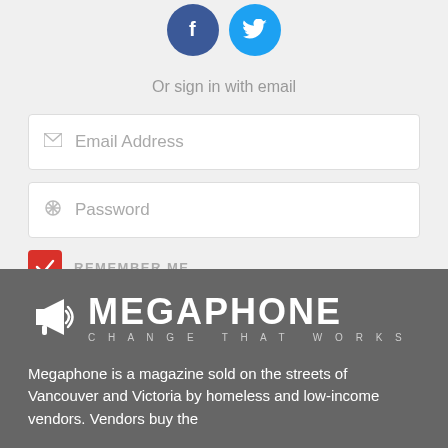[Figure (screenshot): Social sign-in buttons: Facebook (blue circle with f) and Twitter (light blue circle with bird icon)]
Or sign in with email
[Figure (screenshot): Email Address input field with envelope icon]
[Figure (screenshot): Password input field with asterisk/snowflake icon]
[Figure (screenshot): Remember Me checkbox (checked, red) with REMEMBER ME label]
[Figure (screenshot): SUBMIT button (dark grey) and 'or Create an account' link]
[Figure (logo): Megaphone logo: megaphone icon with MEGAPHONE text and CHANGE THAT WORKS tagline on dark grey background]
Megaphone is a magazine sold on the streets of Vancouver and Victoria by homeless and low-income vendors. Vendors buy the